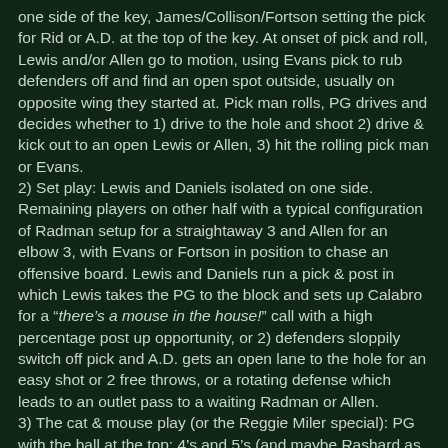one side of the key, James/Collison/Fortson setting the pick for Rid or A.D. at the top of the key. At onset of pick and roll, Lewis and/or Allen go to motion, using Evans pick to rub defenders off and find an open spot outside, usually on opposite wing they started at. Pick man rolls, PG drives and decides whether to 1) drive to the hole and shoot 2) drive & kick out to an open Lewis or Allen, 3) hit the rolling pick man or Evans.
2) Set play: Lewis and Daniels isolated on one side. Remaining players on other half with a typical configuration of Radman setup for a straightaway 3 and Allen for an elbow 3, with Evans or Fortson in position to chase an offensive board. Lewis and Daniels run a pick & post in which Lewis takes the PG to the block and sets up Calabro for a “there’s a mouse in the house!” call with a high percentage post up opportunity, or 2) defenders sloppily switch off pick and A.D. gets an open lane to the hole for an easy shot or 2 free throws, or a rotating defense which leads to an outlet pass to a waiting Radman or Allen.
3) The cat & mouse play (or the Reggie Miler special): PG with the ball at the top: 4’s and 5’s (and maybe Rashard as well) setting picks, SG running through both picks to rub his